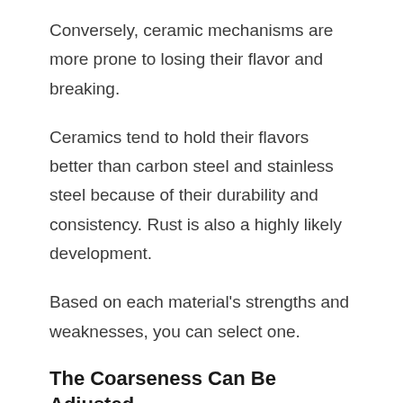Conversely, ceramic mechanisms are more prone to losing their flavor and breaking.
Ceramics tend to hold their flavors better than carbon steel and stainless steel because of their durability and consistency. Rust is also a highly likely development.
Based on each material's strengths and weaknesses, you can select one.
The Coarseness Can Be Adjusted
A nail buffer for manicures mill's fineness or coarseness should be taken into account when shopping around.